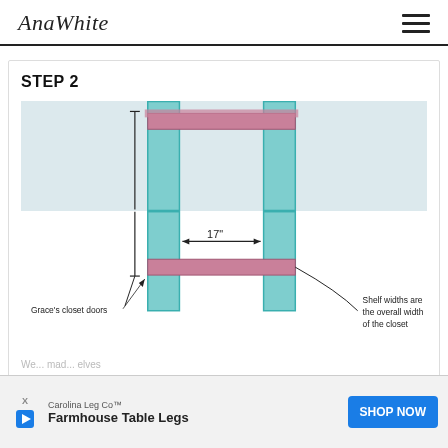AnaWhite
STEP 2
[Figure (engineering-diagram): Illustration of a closet frame assembly showing two vertical teal side panels with pink-highlighted top and bottom shelves. A dimension arrow indicates 17" width. A callout reads 'Grace's closet doors' pointing to the left panel and 'Shelf widths are the overall width of the closet' pointing to the right shelf area.]
We ... mad ... elves